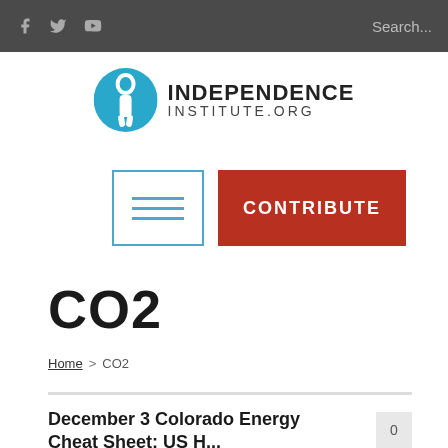f  Twitter  YouTube  Search...
[Figure (logo): Independence Institute logo: blue circle with stylized I figure, text INDEPENDENCE INSTITUTE.ORG]
[Figure (other): Menu icon (three horizontal lines in blue border square) and CONTRIBUTE red button]
CO2
Home > CO2
December 3 Colorado Energy Cheat Sheet: US H...